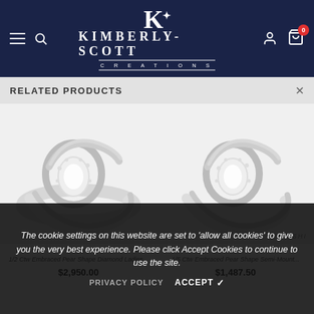Kimberly-Scott Creations — navigation bar with hamburger menu, search, logo, account, and cart (0 items)
RELATED PRODUCTS
[Figure (photo): Diamond pear-shape halo engagement ring on white background, ASHI watermark]
ASHI
1/2 Ctw Embraced Pear Shape Diamond Ladies... $2,950.00
[Figure (photo): Diamond pear-shape halo semi-mount engagement ring on white background, ASHI watermark]
ASHI
1/5 Ctw Embraced Pear Shape Semi-Mount... $1,487.50
The cookie settings on this website are set to 'allow all cookies' to give you the very best experience. Please click Accept Cookies to continue to use the site.
PRIVACY POLICY
ACCEPT ✔